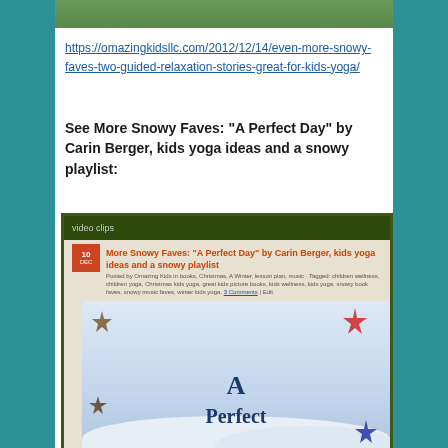[Figure (screenshot): Top portion of a website screenshot showing a green banner at the top]
https://omazingkidsllc.com/2012/12/14/even-more-snowy-faves-two-guided-relaxation-stories-great-for-kids-yoga/
See More Snowy Faves: “A Perfect Day” by Carin Berger, kids yoga ideas and a snowy playlist:
[Figure (screenshot): Screenshot of a blog post titled 'More Snowy Faves: A Perfect Day by Carin Berger, kids yoga ideas and a snowy playlist' with a date badge showing 10 DEC, post metadata, and a book cover image showing birds in snow with text 'A Perfect']